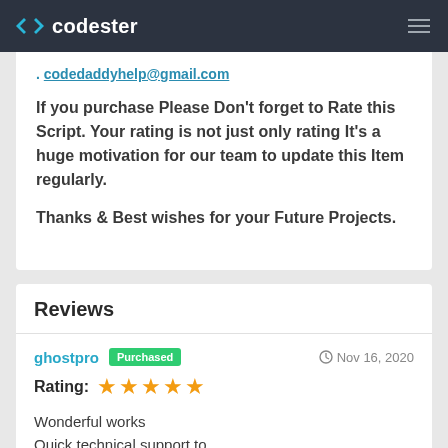codester
. codedaddyhelp@gmail.com
If you purchase Please Don't forget to Rate this Script. Your rating is not just only rating It's a huge motivation for our team to update this Item regularly.
Thanks & Best wishes for your Future Projects.
Reviews
ghostpro  Purchased  Nov 16, 2020
Rating: ★★★★★
Wonderful works
Quick technical support to respond and solve the matter professionally